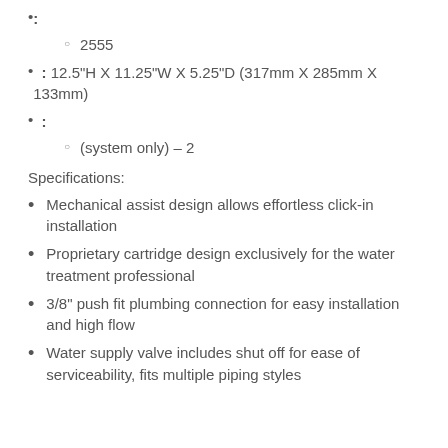:
2555
: 12.5"H X 11.25"W X 5.25"D (317mm X 285mm X 133mm)
:
(system only) – 2
Specifications:
Mechanical assist design allows effortless click-in installation
Proprietary cartridge design exclusively for the water treatment professional
3/8" push fit plumbing connection for easy installation and high flow
Water supply valve includes shut off for ease of serviceability, fits multiple piping styles